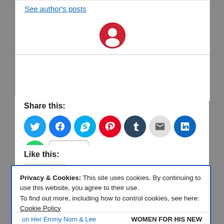See author's posts
[Figure (illustration): Red circle avatar icon with a person/user silhouette in white]
Share this:
[Figure (infographic): Row of social sharing icon buttons: Twitter, Facebook, Skype, Pinterest, Tumblr, Email, LinkedIn, WhatsApp, and a More button]
Like this:
[Figure (other): Like button with star icon]
Be the first to like this.
Privacy & Cookies: This site uses cookies. By continuing to use this website, you agree to their use.
To find out more, including how to control cookies, see here: Cookie Policy
Close and accept
on Her Emmy Nom & Lee
WOMEN FOR HIS NEW